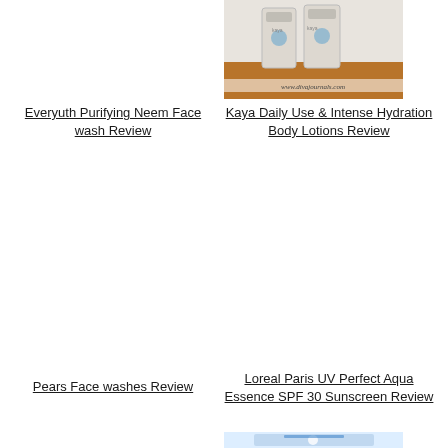[Figure (photo): Kaya Daily Use & Intense Hydration Body Lotions product photo with www.divajournals.com watermark, two white bottles on a wooden surface]
Everyuth Purifying Neem Face wash Review
Kaya Daily Use & Intense Hydration Body Lotions Review
Pears Face washes Review
Loreal Paris UV Perfect Aqua Essence SPF 30 Sunscreen Review
[Figure (photo): Partial photo at bottom of page, appears to be a product with blue and white packaging, partially cropped]